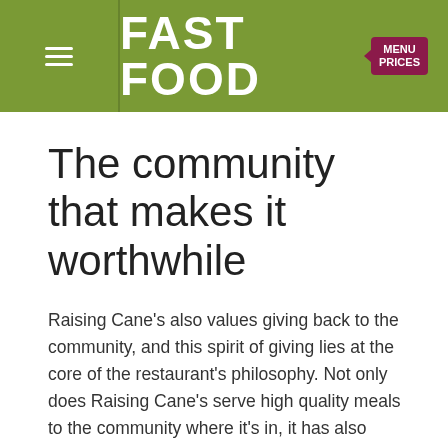FAST FOOD MENU PRICES
The community that makes it worthwhile
Raising Cane's also values giving back to the community, and this spirit of giving lies at the core of the restaurant's philosophy. Not only does Raising Cane's serve high quality meals to the community where it's in, it has also found a way to be involved in that community.